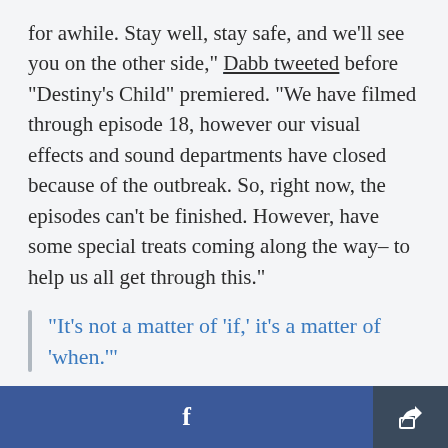for awhile. Stay well, stay safe, and we'll see you on the other side," Dabb tweeted before "Destiny's Child" premiered. "We have filmed through episode 18, however our visual effects and sound departments have closed because of the outbreak. So, right now, the episodes can't be finished. However, have some special treats coming along the way– to help us all get through this."
"It's not a matter of 'if,' it's a matter of 'when.'"
f [share icon]